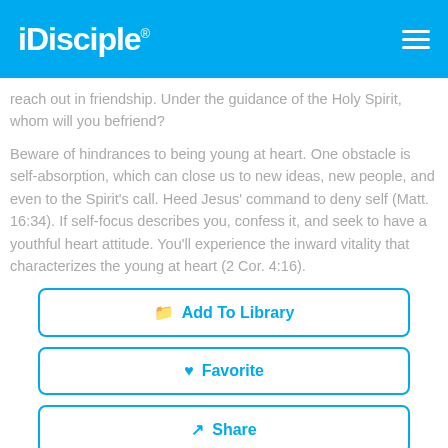iDisciple
reach out in friendship. Under the guidance of the Holy Spirit, whom will you befriend?
Beware of hindrances to being young at heart. One obstacle is self-absorption, which can close us to new ideas, new people, and even to the Spirit's call. Heed Jesus' command to deny self (Matt. 16:34). If self-focus describes you, confess it, and seek to have a youthful heart attitude. You'll experience the inward vitality that characterizes the young at heart (2 Cor. 4:16).
Add To Library
Favorite
Share
Like 46